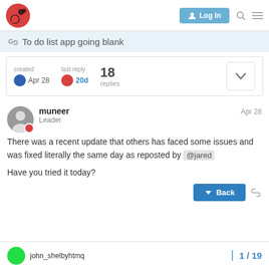Log In
To do list app going blank
created Apr 28  last reply 20d  18 replies
muneer  Leader  Apr 28
There was a recent update that others has faced some issues and was fixed literally the same day as reposted by @jared

Have you tried it today?
john_shelbyhtmq  1 / 19